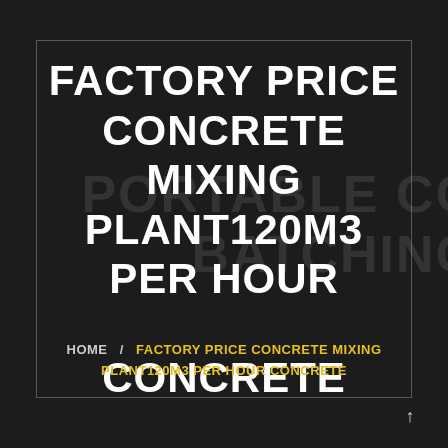[Figure (photo): Dark background with faint image of a portable concrete batching plant. Large watermark text reads 'PORTABLE CO' and 'BATCHING' in dark gray on the right side.]
FACTORY PRICE CONCRETE MIXING PLANT120M3 PER HOUR CONCRETE
HOME / FACTORY PRICE CONCRETE MIXING PLANT120M3 PER HOUR CONCRETE